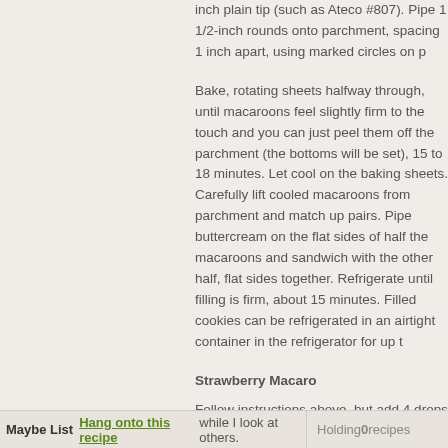inch plain tip (such as Ateco #807). Pipe 1 1/2-inch rounds onto parchment, spacing 1 inch apart, using marked circles on p
Bake, rotating sheets halfway through, until macaroons feel slightly firm to the touch and you can just peel them off the parchment (the bottoms will be set), 15 to 18 minutes. Let cool on the baking sheets. Carefully lift cooled macaroons from parchment and match up pairs. Pipe buttercream on the flat sides of half the macaroons and sandwich with the other half, flat sides together. Refrigerate until filling is firm, about 15 minutes. Filled cookies can be refrigerated in an airtight container in the refrigerator for up t
Strawberry Macaro
Follow instructions above, but add 4 drops of red food coloring to the batter when you add the sugar-
Maybe List   Hang onto this recipe while I look at others.   Holding 0 recipes